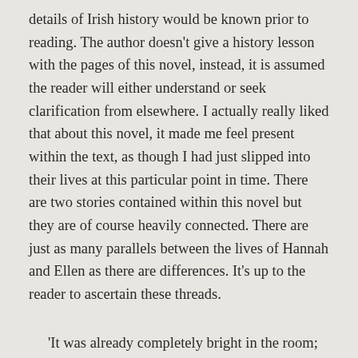details of Irish history would be known prior to reading. The author doesn't give a history lesson with the pages of this novel, instead, it is assumed the reader will either understand or seek clarification from elsewhere. I actually really liked that about this novel, it made me feel present within the text, as though I had just slipped into their lives at this particular point in time. There are two stories contained within this novel but they are of course heavily connected. There are just as many parallels between the lives of Hannah and Ellen as there are differences. It's up to the reader to ascertain these threads.
'It was already completely bright in the room; the savage light was beating against